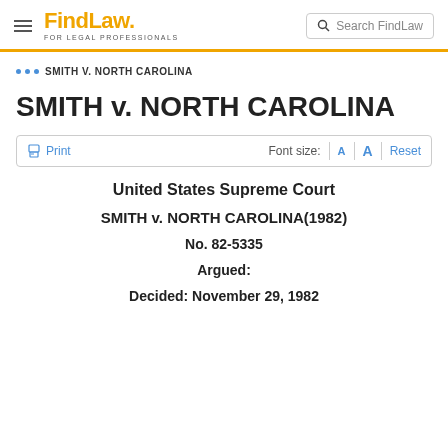FindLaw FOR LEGAL PROFESSIONALS | Search FindLaw
••• SMITH V. NORTH CAROLINA
SMITH v. NORTH CAROLINA
Print | Font size: A A Reset
United States Supreme Court
SMITH v. NORTH CAROLINA(1982)
No. 82-5335
Argued:
Decided: November 29, 1982